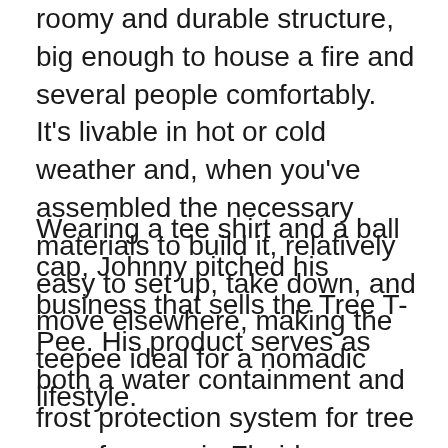roomy and durable structure, big enough to house a fire and several people comfortably. It's livable in hot or cold weather and, when you've assembled the necessary materials to build it, relatively easy to set up, take down, and move elsewhere, making the teepee ideal for a nomadic lifestyle.
Wearing a tee shirt and a ball cap, Johnny pitched his business that sells the Tree T-Pee. His product serves as both a water containment and frost protection system for tree crop farmers in Florida. Johnny left with a deal to partner with John Paul Dejoria of Paul Mitchell and Patron fame. M & M Sales Enterprises Outdoor Teepee Tent Swing, 39in Textilene Platform Swing, Colorful Detachable Tent, Hanging Tree Fort, 250 Lbs., Single or Multi-Rider, Swing and Spin.